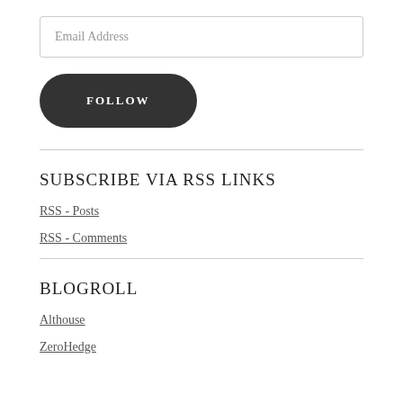Email Address
FOLLOW
SUBSCRIBE VIA RSS LINKS
RSS - Posts
RSS - Comments
BLOGROLL
Althouse
ZeroHedge